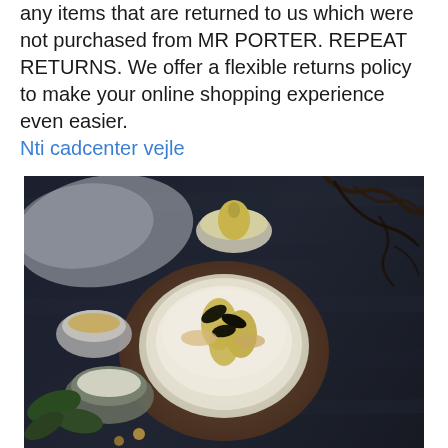any items that are returned to us which were not purchased from MR PORTER. REPEAT RETURNS. We offer a flexible returns policy to make your online shopping experience even easier.
Nti cadcenter vejle
[Figure (photo): Overhead food photography on a dark wooden table showing a decorated cake with pears and dark leaves on a wooden board, surrounded by small bowls with nuts and leaves, a cloth napkin, and twisted branches.]